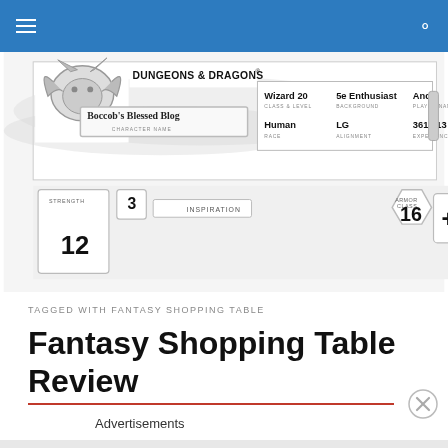Navigation bar with hamburger menu and search icon
[Figure (screenshot): Dungeons & Dragons character sheet header showing 'Boccob's Blessed Blog' with character info: Wizard 20, 5e Enthusiast, Andy, Human, LG, 361,013 XP. Below it shows character stats: Strength 12, Inspiration 3, Armor Class 16, +2 initiative, 30' speed. Text reads 'B3 is a gaming blog with an emphasis on D&D']
TAGGED WITH FANTASY SHOPPING TABLE
Fantasy Shopping Table Review
Advertisements